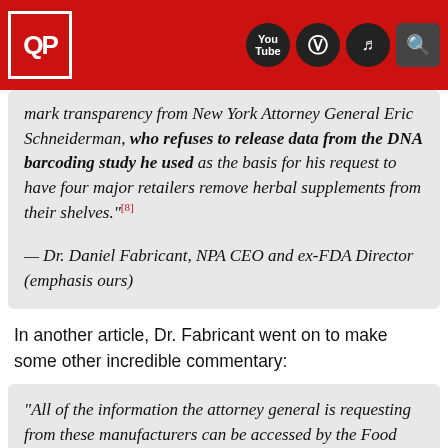QP logo with YouTube, Instagram, TikTok, and Search icons
...mark transparency from New York Attorney General Eric Schneiderman, who refuses to release data from the DNA barcoding study he used as the basis for his request to have four major retailers remove herbal supplements from their shelves."⁺[⁸]
— Dr. Daniel Fabricant, NPA CEO and ex-FDA Director (emphasis ours)
In another article, Dr. Fabricant went on to make some other incredible commentary:
“All of the information the attorney general is requesting from these manufacturers can be accessed by the Food and Drug Administration. The federal government is